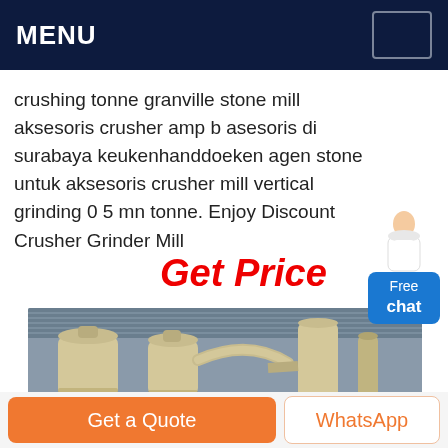MENU
crushing tonne granville stone mill aksesoris crusher amp b asesoris di surabaya keukenhanddoeken agen stone untuk aksesoris crusher mill vertical grinding 0 5 mn tonne. Enjoy Discount Crusher Grinder Mill
Get Price
[Figure (photo): Industrial grinding mill equipment inside a large warehouse with metal roof and pale yellow/cream colored vertical mill cylinders connected by ducts]
Get a Quote
WhatsApp